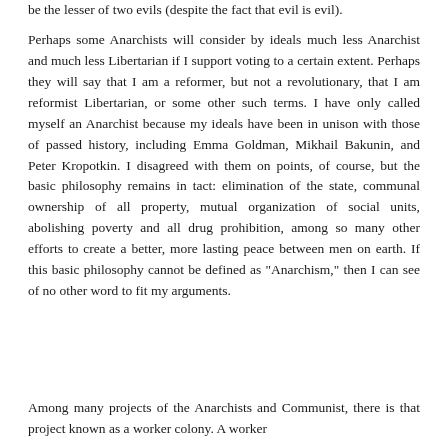be the lesser of two evils (despite the fact that evil is evil).
Perhaps some Anarchists will consider by ideals much less Anarchist and much less Libertarian if I support voting to a certain extent. Perhaps they will say that I am a reformer, but not a revolutionary, that I am reformist Libertarian, or some other such terms. I have only called myself an Anarchist because my ideals have been in unison with those of passed history, including Emma Goldman, Mikhail Bakunin, and Peter Kropotkin. I disagreed with them on points, of course, but the basic philosophy remains in tact: elimination of the state, communal ownership of all property, mutual organization of social units, abolishing poverty and all drug prohibition, among so many other efforts to create a better, more lasting peace between men on earth. If this basic philosophy cannot be defined as "Anarchism," then I can see of no other word to fit my arguments.
Among many projects of the Anarchists and Communist, there is that project known as a worker colony. A worker